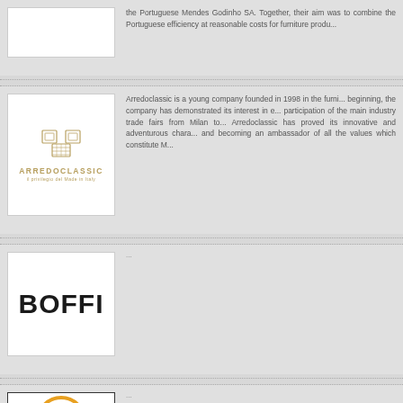[Figure (logo): Partial entry with logo placeholder at top]
the Portuguese Mendes Godinho SA. Together, their aim was to combine the Portuguese efficiency at reasonable costs for furniture produ...
[Figure (logo): Arredoclassic logo with gold decorative symbol and brand name]
Arredoclassic is a young company founded in 1998 in the furni... beginning, the company has demonstrated its interest in ... participation of the main industry trade fairs from Milan to ... Arredoclassic has proved its innovative and adventurous chara... and becoming an ambassador of all the values which constitute M...
[Figure (logo): BOFFI logo in bold black text]
...
[Figure (logo): infurma logo with orange circle i symbol]
...